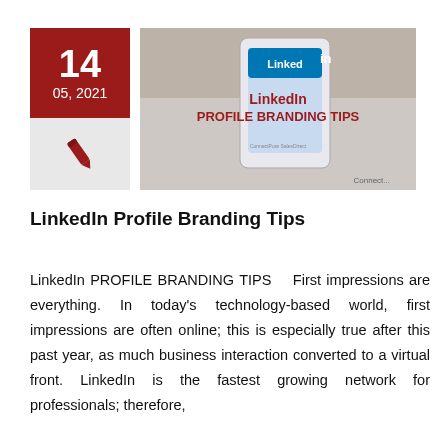[Figure (other): Date block showing '14' and '05, 2021' on dark red background, with a light gray box below containing a pen/pencil icon. Next to it is a thumbnail image of a LinkedIn Profile Branding Tips graphic showing a smartphone with the LinkedIn logo and bold red text 'LinkedIn PROFILE BRANDING TIPS'.]
LinkedIn Profile Branding Tips
LinkedIn PROFILE BRANDING TIPS   First impressions are everything. In today's technology-based world, first impressions are often online; this is especially true after this past year, as much business interaction converted to a virtual front. LinkedIn is the fastest growing network for professionals; therefore,